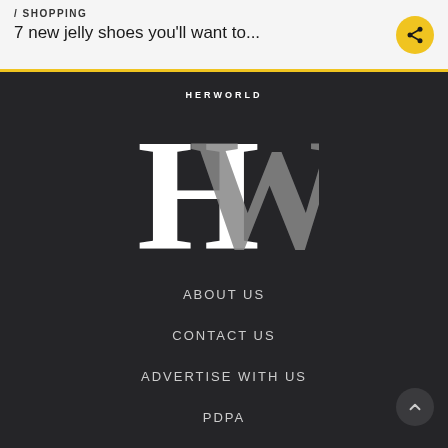/ SHOPPING
7 new jelly shoes you'll want to...
[Figure (logo): Her World HW logo in white and gray on dark background]
ABOUT US
CONTACT US
ADVERTISE WITH US
PDPA
CONDITIONS OF ACCESS